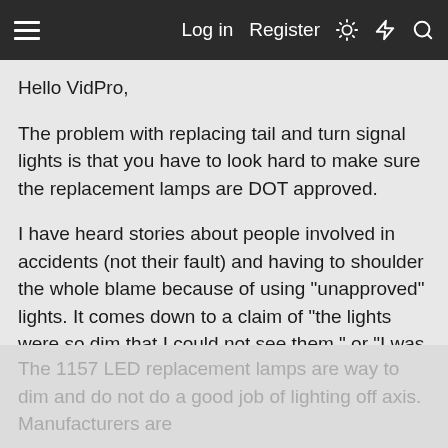Log in  Register
Hello VidPro,
The problem with replacing tail and turn signal lights is that you have to look hard to make sure the replacement lamps are DOT approved.
I have heard stories about people involved in accidents (not their fault) and having to shoulder the whole blame because of using "unapproved" lights. It comes down to a claim of "the lights were so dim that I could not see them," or "I was distracted by the brilliant blue dot."
Some hot rod people have gone back to regular lamps because of this.
The 1157 LED replacement lamps are way to dim and do not do a good job of lighting off axis. Manufacturers are